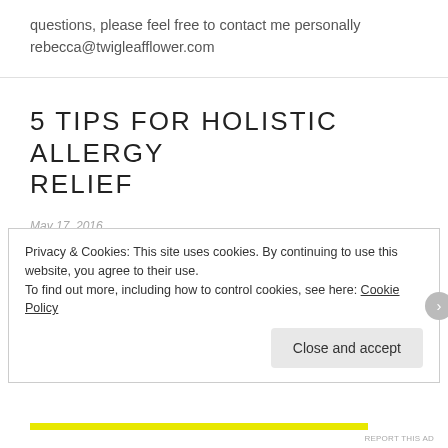questions, please feel free to contact me personally rebecca@twigleafflower.com
5 TIPS FOR HOLISTIC ALLERGY RELIEF
May 17, 2016
Privacy & Cookies: This site uses cookies. By continuing to use this website, you agree to their use. To find out more, including how to control cookies, see here: Cookie Policy
Close and accept